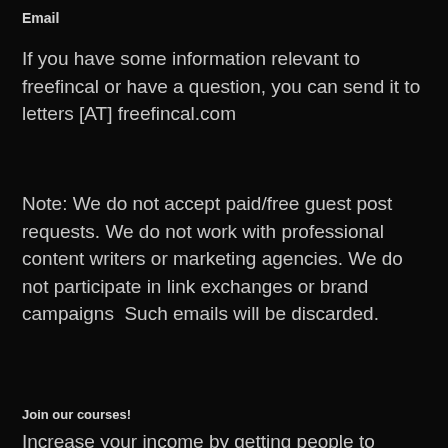Email
If you have some information relevant to freefincal or have a question, you can send it to letters [AT] freefincal.com
Note: We do not accept paid/free guest post requests. We do not work with professional content writers or marketing agencies. We do not participate in link exchanges or brand campaigns  Such emails will be discarded.
Join our courses!
Increase your income by getting people to